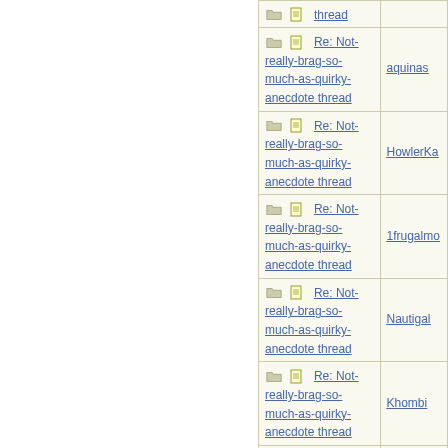| Topic | Author |
| --- | --- |
| Re: Not-really-brag-so-much-as-quirky-anecdote thread (partial top) |  |
| Re: Not-really-brag-so-much-as-quirky-anecdote thread | aquinas |
| Re: Not-really-brag-so-much-as-quirky-anecdote thread | HowlerKa |
| Re: Not-really-brag-so-much-as-quirky-anecdote thread | 1frugalmo |
| Re: Not-really-brag-so-much-as-quirky-anecdote thread | Nautigal |
| Re: Not-really-brag-so-much-as-quirky-anecdote thread | Khombi |
| Re: Not-really-brag-so-much-as-quirky-anecdote thread | aquinas |
| Re: Not-really- (partial bottom) |  |